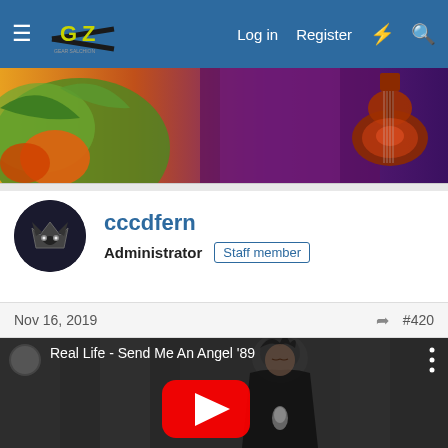Log in  Register
[Figure (photo): Colorful banner image showing a guitar and artistic background with orange and green colors]
cccdfern
Administrator  Staff member
Nov 16, 2019  #420
[Figure (screenshot): YouTube video embed thumbnail for 'Real Life - Send Me An Angel '89' showing a singer performing with a YouTube play button overlay]